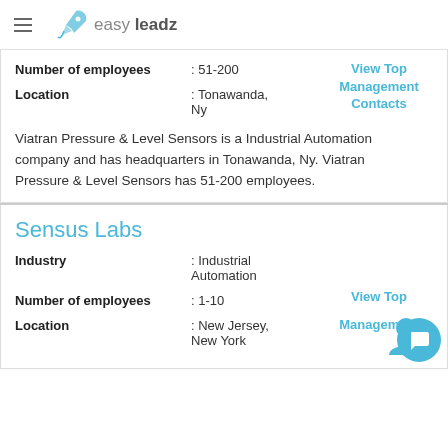easy leadz
Number of employees : 51-200
Location : Tonawanda, Ny
View Top Management Contacts
Viatran Pressure & Level Sensors is a Industrial Automation company and has headquarters in Tonawanda, Ny. Viatran Pressure & Level Sensors has 51-200 employees.
Sensus Labs
Industry : Industrial Automation
Number of employees : 1-10
Location : New Jersey, New York
View Top Management